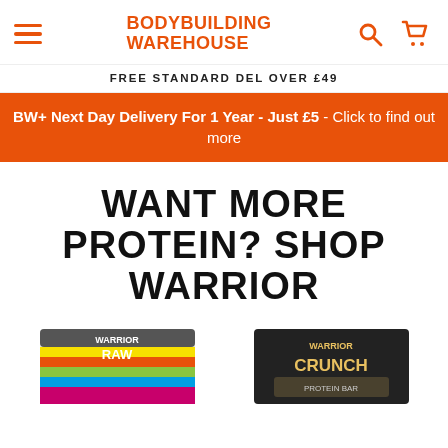BODYBUILDING WAREHOUSE
FREE STANDARD DEL OVER £49
BW+ Next Day Delivery For 1 Year - Just £5 - Click to find out more
WANT MORE PROTEIN? SHOP WARRIOR
[Figure (photo): Two product boxes: Warrior Raw protein bars (rainbow coloured box) and Warrior Crunch bars (dark box), partially visible at bottom of page]